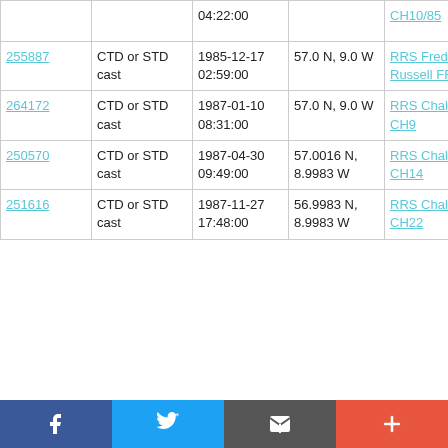| ID | Type | Date/Time | Location | Cruise |
| --- | --- | --- | --- | --- |
|  |  | 04:22:00 |  | CH10/85 |
| 255887 | CTD or STD cast | 1985-12-17 02:59:00 | 57.0 N, 9.0 W | RRS Frederick Russell FR13/85 |
| 264172 | CTD or STD cast | 1987-01-10 08:31:00 | 57.0 N, 9.0 W | RRS Challenger CH9 |
| 250570 | CTD or STD cast | 1987-04-30 09:49:00 | 57.0016 N, 8.9983 W | RRS Challenger CH14 |
| 251616 | CTD or STD cast | 1987-11-27 17:48:00 | 56.9983 N, 8.9983 W | RRS Challenger CH22 |
Social share bar: Facebook, Twitter, Email, More